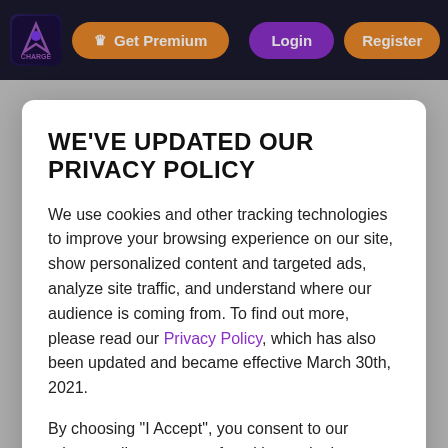Get Premium  Login  Register
WE'VE UPDATED OUR PRIVACY POLICY
We use cookies and other tracking technologies to improve your browsing experience on our site, show personalized content and targeted ads, analyze site traffic, and understand where our audience is coming from. To find out more, please read our Privacy Policy, which has also been updated and became effective March 30th, 2021.
By choosing "I Accept", you consent to our privacy policy, our use of cookies and other tracking technologies.
I Accept